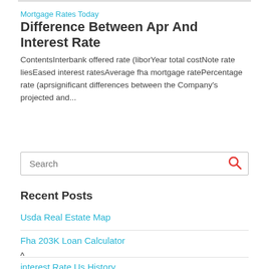Mortgage Rates Today
Difference Between Apr And Interest Rate
ContentsInterbank offered rate (liborYear total costNote rate liesEased interest ratesAverage fha mortgage ratePercentage rate (aprsignificant differences between the Company's projected and...
[Figure (other): Search input box with red search icon on right]
Recent Posts
Usda Real Estate Map
Fha 203K Loan Calculator
interest Rate Us History